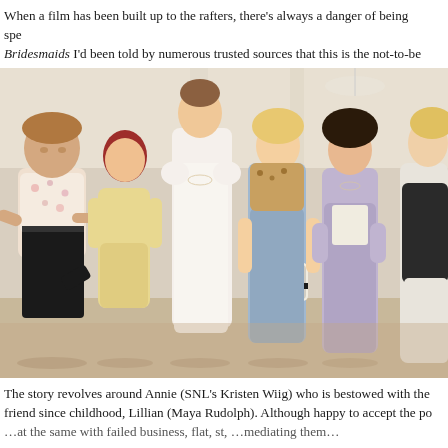When a film has been built up to the rafters, there's always a danger of being spe… Bridesmaids I'd been told by numerous trusted sources that this is the not-to-be… wettingly funny. And it was. But it was also so much more.
[Figure (photo): A scene from the film Bridesmaids showing six women standing in a bridal boutique. From left to right: a heavyset woman in a floral shirt and black pants with one leg raised, a red-haired woman in a yellow dress, a tall woman in a white dress, a blonde woman in a blue-grey dress holding a black and white handbag, a dark-haired woman in a lavender cardigan, and a blonde woman in a white dress.]
The story revolves around Annie (SNL's Kristen Wiig) who is bestowed with the… friend since childhood, Lillian (Maya Rudolph). Although happy to accept the po… …at the same with failed business, flat, st, …mediating them…